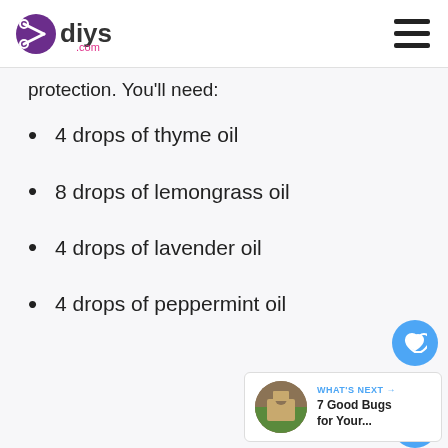diys.com
protection. You'll need:
4 drops of thyme oil
8 drops of lemongrass oil
4 drops of lavender oil
4 drops of peppermint oil